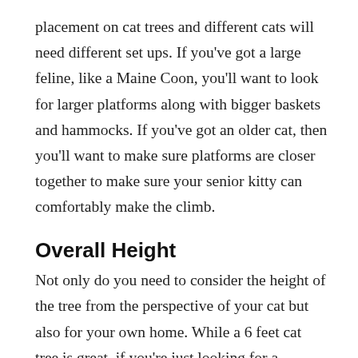placement on cat trees and different cats will need different set ups. If you've got a large feline, like a Maine Coon, you'll want to look for larger platforms along with bigger baskets and hammocks. If you've got an older cat, then you'll want to make sure platforms are closer together to make sure your senior kitty can comfortably make the climb.
Overall Height
Not only do you need to consider the height of the tree from the perspective of your cat but also for your own home. While a 6 feet cat tree is great, if you're just looking for a hammock or basket it could be more than
you need.